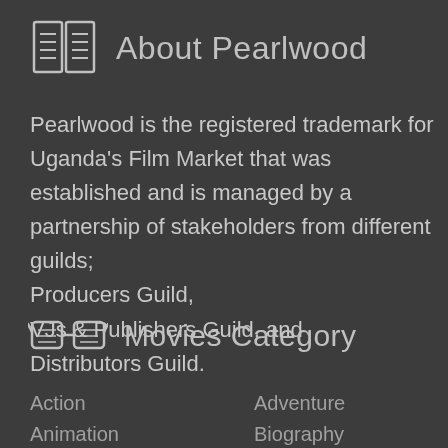About Pearlwood
Pearlwood is the registered trademark for Uganda's Film Market that was established and is managed by a partnership of stakeholders from different guilds; Producers Guild,
VJs & Publishers Guild, and
Distributors Guild.
Movies Category
Action
Adventure
Animation
Biography